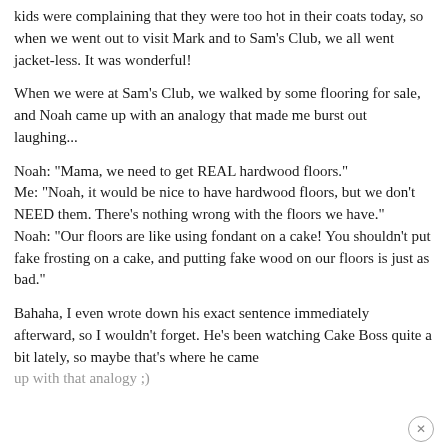kids were complaining that they were too hot in their coats today, so when we went out to visit Mark and to Sam's Club, we all went jacket-less. It was wonderful!
When we were at Sam's Club, we walked by some flooring for sale, and Noah came up with an analogy that made me burst out laughing...
Noah: "Mama, we need to get REAL hardwood floors." Me: "Noah, it would be nice to have hardwood floors, but we don't NEED them. There's nothing wrong with the floors we have." Noah: "Our floors are like using fondant on a cake! You shouldn't put fake frosting on a cake, and putting fake wood on our floors is just as bad."
Bahaha, I even wrote down his exact sentence immediately afterward, so I wouldn't forget. He's been watching Cake Boss quite a bit lately, so maybe that's where he came up with that analogy ;)